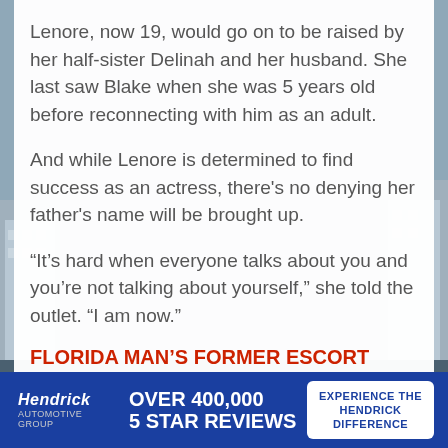Lenore, now 19, would go on to be raised by her half-sister Delinah and her husband. She last saw Blake when she was 5 years old before reconnecting with him as an adult.
And while Lenore is determined to find success as an actress, there's no denying her father's name will be brought up.
“It’s hard when everyone talks about you and you’re not talking about yourself,” she told the outlet. “I am now.”
FLORIDA MAN’S FORMER ESCORT WIFE TRIED HIRING A HIT MAN: ‘I WAS PRAYING IT
[Figure (advertisement): Hendrick automotive ad banner: white italic Hendrick logo with tagline, bold white text 'OVER 400,000 5 STAR REVIEWS', white button 'EXPERIENCE THE HENDRICK DIFFERENCE' on blue background]